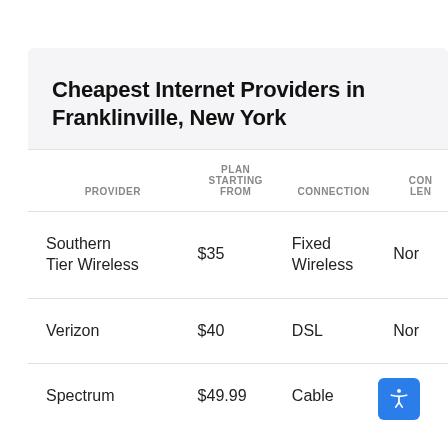Cheapest Internet Providers in Franklinville, New York
| PROVIDER | PLAN STARTING FROM | CONNECTION | CONTRACT LENGTH |
| --- | --- | --- | --- |
| Southern Tier Wireless | $35 | Fixed Wireless | No... |
| Verizon | $40 | DSL | No... |
| Spectrum | $49.99 | Cable | No... |